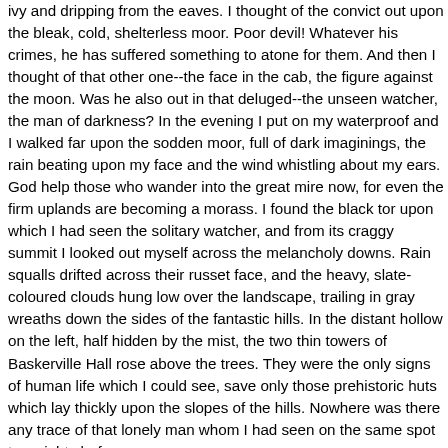ivy and dripping from the eaves. I thought of the convict out upon the bleak, cold, shelterless moor. Poor devil! Whatever his crimes, he has suffered something to atone for them. And then I thought of that other one--the face in the cab, the figure against the moon. Was he also out in that deluged--the unseen watcher, the man of darkness? In the evening I put on my waterproof and I walked far upon the sodden moor, full of dark imaginings, the rain beating upon my face and the wind whistling about my ears. God help those who wander into the great mire now, for even the firm uplands are becoming a morass. I found the black tor upon which I had seen the solitary watcher, and from its craggy summit I looked out myself across the melancholy downs. Rain squalls drifted across their russet face, and the heavy, slate-coloured clouds hung low over the landscape, trailing in gray wreaths down the sides of the fantastic hills. In the distant hollow on the left, half hidden by the mist, the two thin towers of Baskerville Hall rose above the trees. They were the only signs of human life which I could see, save only those prehistoric huts which lay thickly upon the slopes of the hills. Nowhere was there any trace of that lonely man whom I had seen on the same spot two nights before.
As I walked back I was overtaken by Dr. Mortimer driving in his dog-cart over a rough moorland track which led from the outlying farmhouse of Foulmire. He has been very attentive to us, and hardly a day has